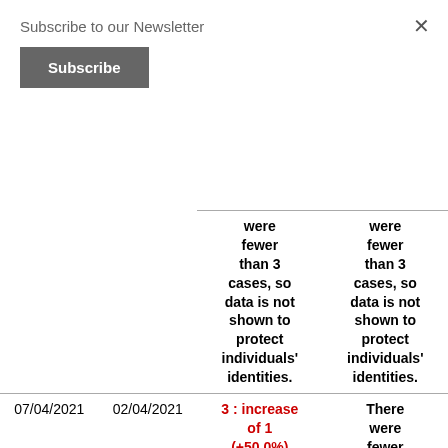Subscribe to our Newsletter
Subscribe
×
|  |  |  |  |
| --- | --- | --- | --- |
|  |  | were fewer than 3 cases, so data is not shown to protect individuals' identities. | were fewer than 3 cases, so data is not shown to protect individuals' identities. |
| 07/04/2021 | 02/04/2021 | 3 : increase of 1 (+50.0%) | There were fewer than 3 |